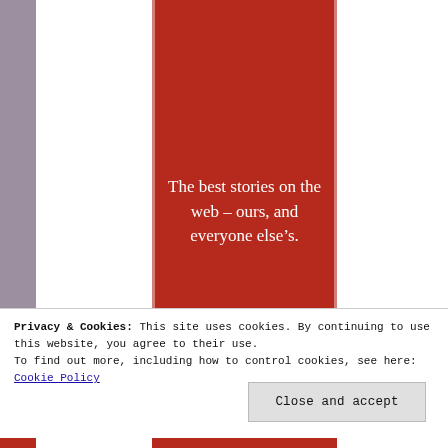[Figure (screenshot): Website advertisement screenshot with red column panel containing tagline 'The best stories on the web – ours, and everyone else's.' and a 'Start reading' button. Shows a cookie consent banner overlay at the bottom with 'Close and accept' button.]
The best stories on the web – ours, and everyone else's.
Privacy & Cookies: This site uses cookies. By continuing to use this website, you agree to their use.
To find out more, including how to control cookies, see here: Cookie Policy